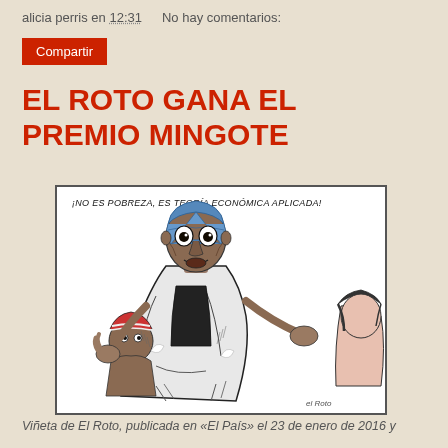alicia perris en 12:31   No hay comentarios:
Compartir
EL ROTO GANA EL PREMIO MINGOTE
[Figure (illustration): Cartoon by El Roto showing a gaunt figure wearing a blue headscarf with wide eyes, surrounded by other figures, with a caption reading '¡NO ES POBREZA, ES TEORÍA ECONÓMICA APLICADA!' Signed 'el Roto' at the bottom right.]
Viñeta de El Roto, publicada en «El País» el 23 de enero de 2016 y